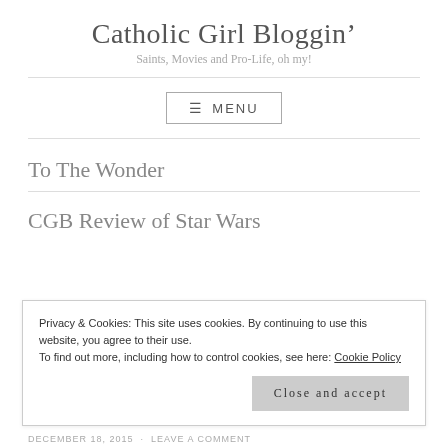Catholic Girl Bloggin'
Saints, Movies and Pro-Life, oh my!
≡ MENU
To The Wonder
CGB Review of Star Wars
Privacy & Cookies: This site uses cookies. By continuing to use this website, you agree to their use.
To find out more, including how to control cookies, see here: Cookie Policy
Close and accept
DECEMBER 18, 2015 · LEAVE A COMMENT